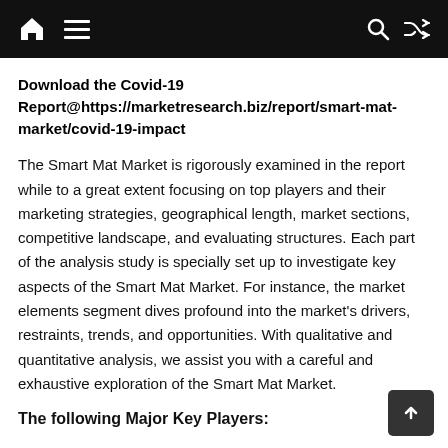Home Menu Search Shuffle
Download the Covid-19 Report@https://marketresearch.biz/report/smart-mat-market/covid-19-impact
The Smart Mat Market is rigorously examined in the report while to a great extent focusing on top players and their marketing strategies, geographical length, market sections, competitive landscape, and evaluating structures.  Each part of the analysis study is specially set up to investigate key aspects of the Smart Mat Market. For instance, the market elements segment dives profound into the market's drivers, restraints, trends, and opportunities. With qualitative and quantitative analysis, we assist you with a careful and exhaustive exploration of the Smart Mat Market.
The following Major Key Players: